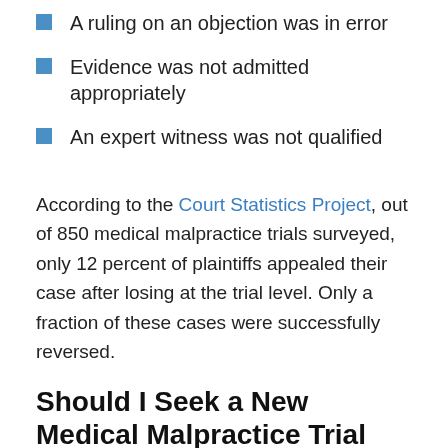A ruling on an objection was in error
Evidence was not admitted appropriately
An expert witness was not qualified
According to the Court Statistics Project, out of 850 medical malpractice trials surveyed, only 12 percent of plaintiffs appealed their case after losing at the trial level. Only a fraction of these cases were successfully reversed.
Should I Seek a New Medical Malpractice Trial Instead?
Generally, you will not be able to seek a new medical